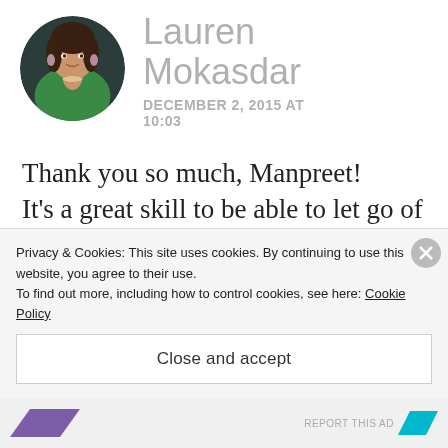[Figure (photo): Circular avatar photo of Lauren Mokasdar, a woman in a green top with dark hair]
Lauren Mokasdar
DECEMBER 2, 2015 AT 10:03
Thank you so much, Manpreet! It's a great skill to be able to let go of pressure, I think that people should know that stress reduces fertility- maybe then they would stop asking
Privacy & Cookies: This site uses cookies. By continuing to use this website, you agree to their use.
To find out more, including how to control cookies, see here: Cookie Policy
Close and accept